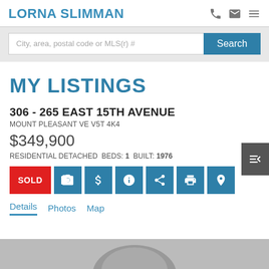LORNA SLIMMAN
City, area, postal code or MLS(r) #
MY LISTINGS
306 - 265 EAST 15TH AVENUE
MOUNT PLEASANT VE V5T 4K4
$349,900
RESIDENTIAL DETACHED BEDS: 1 BUILT: 1976
SOLD
Details
Photos
Map